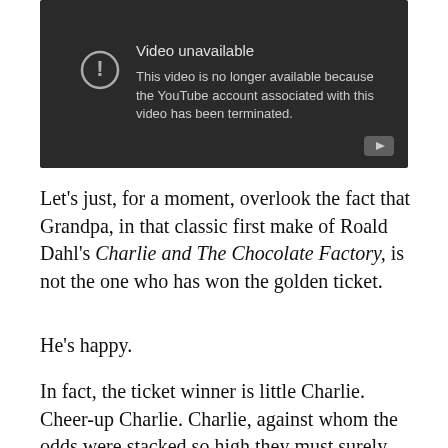[Figure (screenshot): YouTube video unavailable message on dark background. Shows exclamation mark icon, text 'Video unavailable' and 'This video is no longer available because the YouTube account associated with this video has been terminated.' with a YouTube play button in bottom-right corner.]
Let’s just, for a moment, overlook the fact that Grandpa, in that classic first make of Roald Dahl’s Charlie and The Chocolate Factory, is not the one who has won the golden ticket.
He’s happy.
In fact, the ticket winner is little Charlie. Cheer-up Charlie. Charlie, against whom the odds were stacked so high they must surely have crushed him.